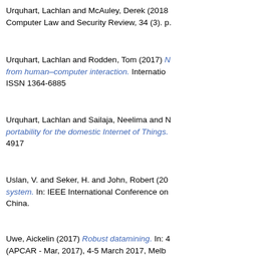Urquhart, Lachlan and McAuley, Derek (2018) Computer Law and Security Review, 34 (3). p.
Urquhart, Lachlan and Rodden, Tom (2017) [link: from human–computer interaction.] International... ISSN 1364-6885
Urquhart, Lachlan and Sailaja, Neelima and [link: portability for the domestic Internet of Things.] 4917
Uslan, V. and Seker, H. and John, Robert (20 [link: system.] In: IEEE International Conference on China.
Uwe, Aickelin (2017) [link: Robust datamining.] In: 4 (APCAR - Mar, 2017), 4-5 March 2017, Melb
V
Valchovska, Stela and Chamberlain, Alan and Mark and Glover, Kevin and Rodden, Tom (2 [link: Development and Facilitation in the Digital E...] Salford, UK. (Unpublished)
Vallejos, Elvira Perez and Baker, Charley and